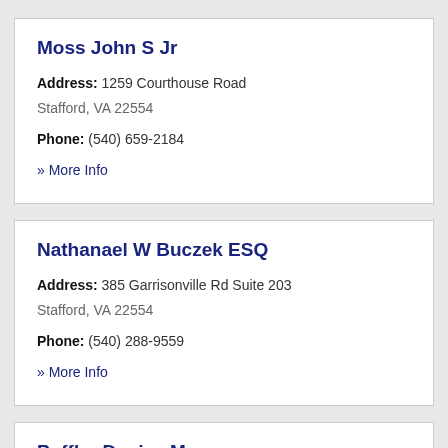Moss John S Jr
Address: 1259 Courthouse Road
Stafford, VA 22554
Phone: (540) 659-2184
» More Info
Nathanael W Buczek ESQ
Address: 385 Garrisonville Rd Suite 203
Stafford, VA 22554
Phone: (540) 288-9559
» More Info
Poffler Denise M...